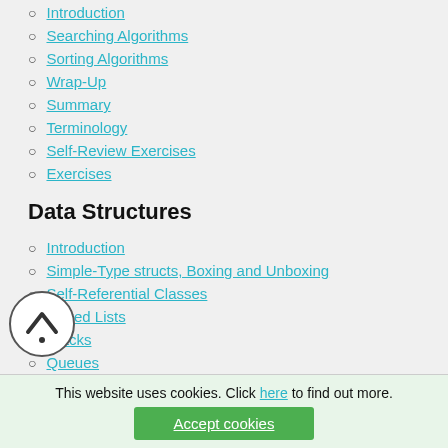Introduction
Searching Algorithms
Sorting Algorithms
Wrap-Up
Summary
Terminology
Self-Review Exercises
Exercises
Data Structures
Introduction
Simple-Type structs, Boxing and Unboxing
Self-Referential Classes
Linked Lists
Stacks
Queues
Trees
Wrap-Up
Summary
Terminology
This website uses cookies. Click here to find out more.